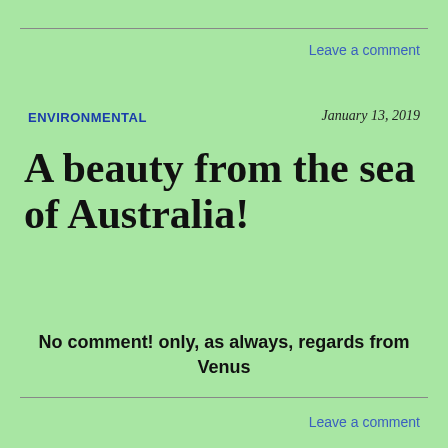Leave a comment
ENVIRONMENTAL
January 13, 2019
A beauty from the sea of Australia!
No comment! only, as always, regards from Venus
Leave a comment